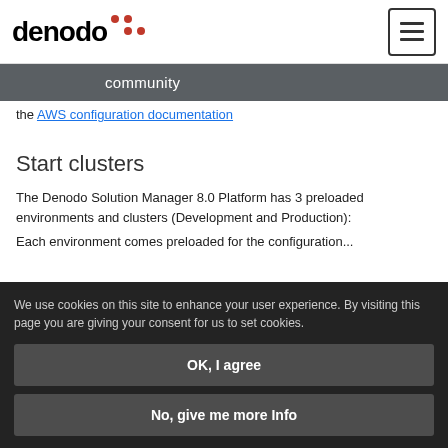denodo community
the AWS configuration documentation
Start clusters
The Denodo Solution Manager 8.0 Platform has 3 preloaded environments and clusters (Development and Production):
We use cookies on this site to enhance your user experience. By visiting this page you are giving your consent for us to set cookies.
OK, I agree
No, give me more Info